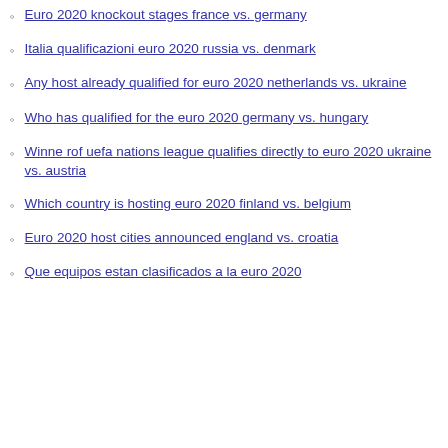Euro 2020 knockout stages france vs. germany
Italia qualificazioni euro 2020 russia vs. denmark
Any host already qualified for euro 2020 netherlands vs. ukraine
Who has qualified for the euro 2020 germany vs. hungary
Winne rof uefa nations league qualifies directly to euro 2020 ukraine vs. austria
Which country is hosting euro 2020 finland vs. belgium
Euro 2020 host cities announced england vs. croatia
Que equipos estan clasificados a la euro 2020